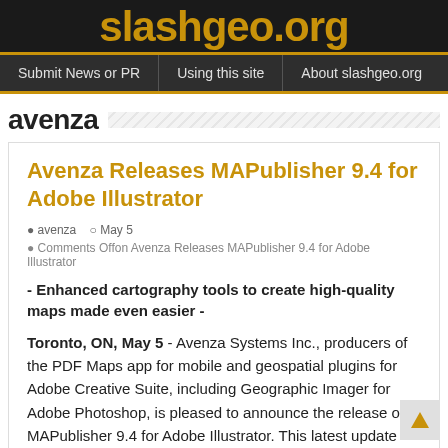slashgeo.org
Submit News or PR | Using this site | About slashgeo.org
avenza
Avenza Releases MAPublisher 9.4 for Adobe Illustrator
avenza  May 5
Comments Offon Avenza Releases MAPublisher 9.4 for Adobe Illustrator
- Enhanced cartography tools to create high-quality maps made even easier -
Toronto, ON, May 5 - Avenza Systems Inc., producers of the PDF Maps app for mobile and geospatial plugins for Adobe Creative Suite, including Geographic Imager for Adobe Photoshop, is pleased to announce the release of MAPublisher 9.4 for Adobe Illustrator. This latest update includes new many features including streamlined import, support for additional formats when exporting a document web tiles, and a new image attribute type to support images impo